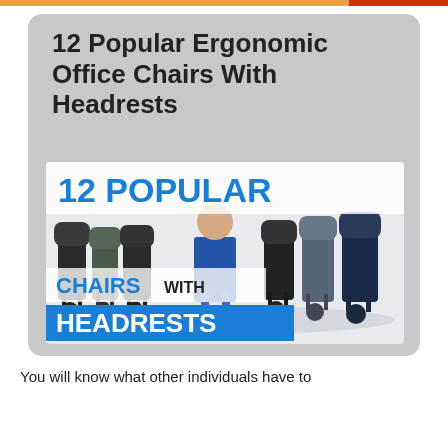12 Popular Ergonomic Office Chairs With Headrests
[Figure (photo): Promotional image showing a man in a blue shirt standing among 12 ergonomic office chairs with headrests. Bold blue text reads '12 POPULAR' at top, 'CHAIRS WITH' in the middle, and 'HEADRESTS' in white text on blue banner at the bottom.]
You will know what other individuals have to